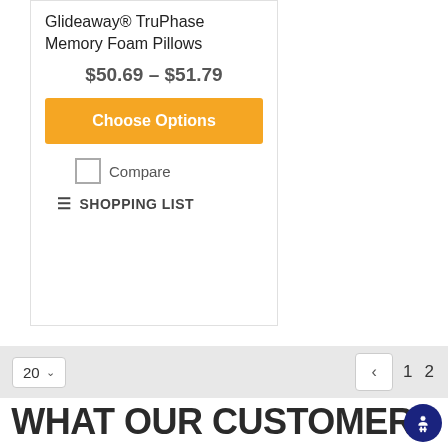Glideaway® TruPhase Memory Foam Pillows
$50.69 - $51.79
Choose Options
Compare
SHOPPING LIST
20
1  2
WHAT OUR CUSTOMERS ARE SAYING